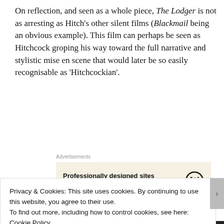On reflection, and seen as a whole piece, The Lodger is not as arresting as Hitch's other silent films (Blackmail being an obvious example). This film can perhaps be seen as Hitchcock groping his way toward the full narrative and stylistic mise en scene that would later be so easily recognisable as 'Hitchcockian'.
Advertisements
[Figure (other): Advertisement box with beige background showing 'Professionally designed sites in less than a week' with WordPress logo]
This furtive fumbling in the cinematic
Privacy & Cookies: This site uses cookies. By continuing to use this website, you agree to their use.
To find out more, including how to control cookies, see here:
Cookie Policy
Close and accept